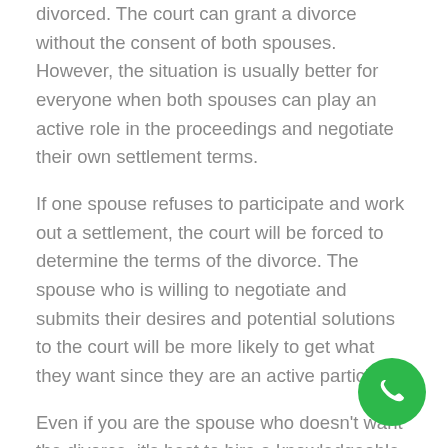divorced. The court can grant a divorce without the consent of both spouses. However, the situation is usually better for everyone when both spouses can play an active role in the proceedings and negotiate their own settlement terms.
If one spouse refuses to participate and work out a settlement, the court will be forced to determine the terms of the divorce. The spouse who is willing to negotiate and submits their desires and potential solutions to the court will be more likely to get what they want since they are an active participant.
Even if you are the spouse who doesn't want the divorce, it's best to hire a knowledgeable Illinois divorce attorney who can help you understand this process and make the best of it for you and your family.